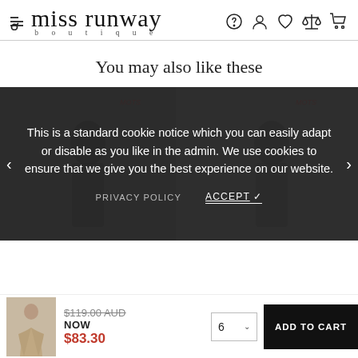miss runway boutique
You may also like these
[Figure (screenshot): Product carousel showing fashion dresses, partially visible, with a dark cookie consent overlay]
This is a standard cookie notice which you can easily adapt or disable as you like in the admin. We use cookies to ensure that we give you the best experience on our website.
PRIVACY POLICY    ACCEPT ✓
[Figure (photo): Small thumbnail of a woman in a beige/taupe dress]
$119.00 AUD
NOW
$83.30
6   ADD TO CART